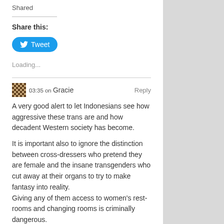Shared
Share this:
[Figure (other): Tweet button with Twitter bird icon]
Loading...
03:35 on Gracie   Reply
A very good alert to let Indonesians see how aggressive these trans are and how decadent Western society has become.

It is important also to ignore the distinction between cross-dressers who pretend they are female and the insane transgenders who cut away at their organs to try to make fantasy into reality.
Giving any of them access to women's rest-rooms and changing rooms is criminally dangerous.
Like